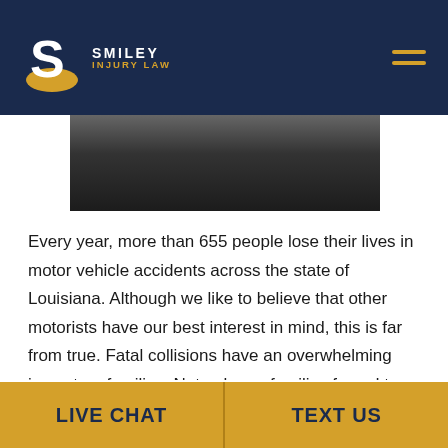Smiley Injury Law
[Figure (photo): Dark image strip showing road/vehicle — partial top of article image]
Every year, more than 655 people lose their lives in motor vehicle accidents across the state of Louisiana. Although we like to believe that other motorists have our best interest in mind, this is far from true. Fatal collisions have an overwhelming impact on families. Not only are families forced to deal with the mental and emotional pain and suffering of losing a loved one, but they often face overwhelming financial burdens from
LIVE CHAT | TEXT US